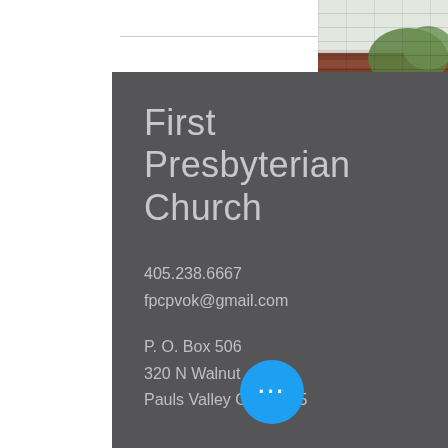First Presbyterian Church
405.238.6667
fpcpvok@gmail.com
P. O. Box 506
320 N Walnut
Pauls Valley OK 73075
Write Us
Name
Email
[Figure (photo): Exterior photo of a brick church building with architectural details and trees visible]